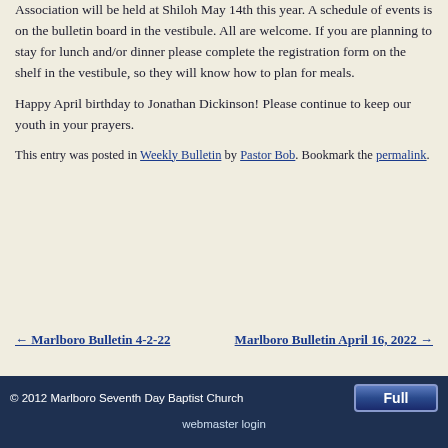Association will be held at Shiloh May 14th this year. A schedule of events is on the bulletin board in the vestibule. All are welcome. If you are planning to stay for lunch and/or dinner please complete the registration form on the shelf in the vestibule, so they will know how to plan for meals.
Happy April birthday to Jonathan Dickinson! Please continue to keep our youth in your prayers.
This entry was posted in Weekly Bulletin by Pastor Bob. Bookmark the permalink.
← Marlboro Bulletin 4-2-22    Marlboro Bulletin April 16, 2022 →
© 2012 Marlboro Seventh Day Baptist Church  webmaster login